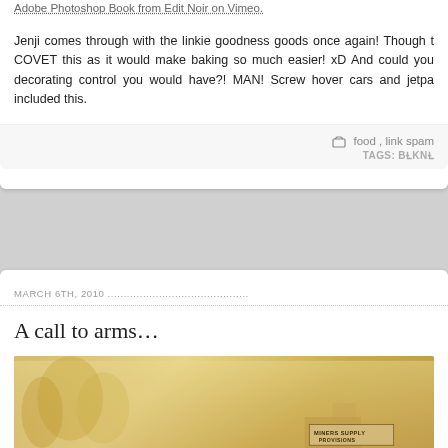Adobe Photoshop Book from Edit Noir on Vimeo.
Jenji comes through with the linkie goodness goods once again! Though t... COVET this as it would make baking so much easier! xD And could you... decorating control you would have?! MAN! Screw hover cars and jetpa... included this.
food , link spam
TAGS: BAKING
MARCH 6TH, 2010
A call to arms…
[Figure (photo): Deadwood title card / banner image with sepia-toned western background showing trees and buildings. Large text reads DEADWOOD with decorative elements. On the right side a sign reads MINERS SUPPLY PROVISIONS.]